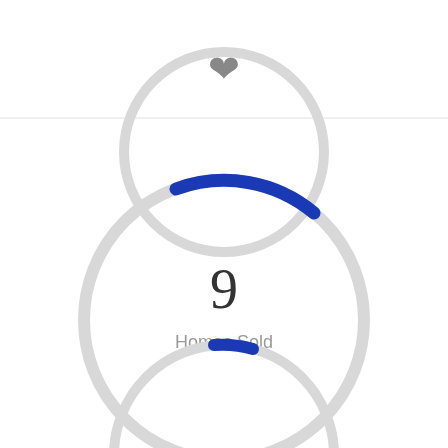[Figure (donut-chart): Circular gauge/donut chart showing 9 Homes Sold with a small blue arc segment on a gray ring. Heart icon at top. Partial circles visible at top and bottom.]
9
Homes Sold